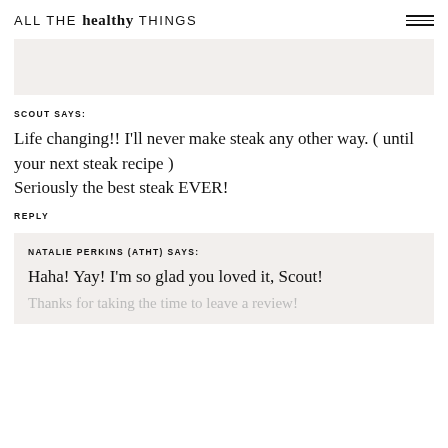ALL THE healthy THINGS
[Figure (other): Gray banner/advertisement placeholder]
SCOUT SAYS:
Life changing!! I'll never make steak any other way. ( until your next steak recipe )
Seriously the best steak EVER!
REPLY
NATALIE PERKINS (ATHT) SAYS:
Haha! Yay! I'm so glad you loved it, Scout!
Thanks for taking the time to leave a review!